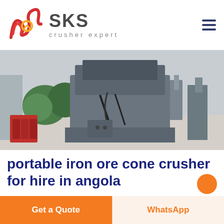SKS crusher expert
[Figure (photo): Large industrial cone crusher machine photographed outdoors on a concrete surface with green trees and a building in the background. Red equipment parts visible on the left side.]
portable iron ore cone crusher for hire in angola
used iron ore cone crusher for hire angola used coal crusher for hire in angola Yantai portable coal cone crusher for hire angola
Get a Quote | WhatsApp